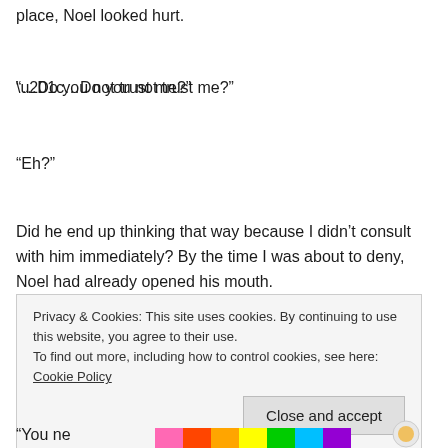place, Noel looked hurt.
“…Do you not trust me?”
“Eh?”
Did he end up thinking that way because I didn’t consult with him immediately? By the time I was about to deny, Noel had already opened his mouth.
Privacy & Cookies: This site uses cookies. By continuing to use this website, you agree to their use. To find out more, including how to control cookies, see here: Cookie Policy
Close and accept
“You ne